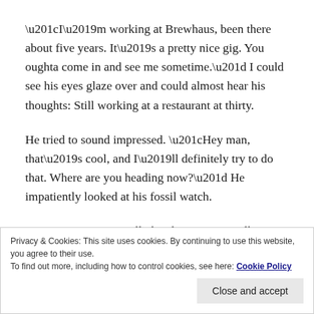“I’m working at Brewhaus, been there about five years. It’s a pretty nice gig. You oughta come in and see me sometime.” I could see his eyes glaze over and could almost hear his thoughts: Still working at a restaurant at thirty.
He tried to sound impressed. “Hey man, that’s cool, and I’ll definitely try to do that. Where are you heading now?” He impatiently looked at his fossil watch.
“I’m actually heading over to Belk to get some jewelry. Apparently, I had the wrong idea when I thought I’d get my girlfriend flowers.” I pointed at the door just to my
Privacy & Cookies: This site uses cookies. By continuing to use this website, you agree to their use.
To find out more, including how to control cookies, see here: Cookie Policy
Close and accept